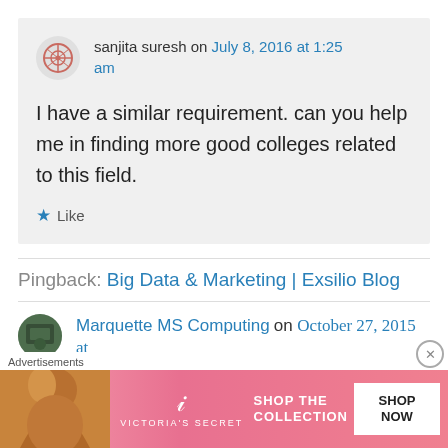sanjita suresh on July 8, 2016 at 1:25 am
I have a similar requirement. can you help me in finding more good colleges related to this field.
★ Like
Pingback: Big Data & Marketing | Exsilio Blog
Marquette MS Computing on October 27, 2015 at
Advertisements
[Figure (other): Victoria's Secret advertisement banner with model and 'Shop the Collection / Shop Now' text]